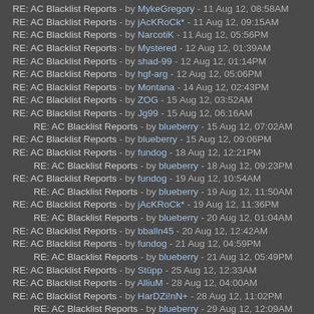RE: AC Blacklist Reports - by MykeGregory - 11 Aug 12, 08:58AM
RE: AC Blacklist Reports - by jAcKRoCk* - 11 Aug 12, 09:15AM
RE: AC Blacklist Reports - by NarcotiK - 11 Aug 12, 05:56PM
RE: AC Blacklist Reports - by Mystered - 12 Aug 12, 01:39AM
RE: AC Blacklist Reports - by shad-99 - 12 Aug 12, 01:14PM
RE: AC Blacklist Reports - by hgf-arg - 12 Aug 12, 05:06PM
RE: AC Blacklist Reports - by Montana - 14 Aug 12, 02:43PM
RE: AC Blacklist Reports - by ZOG - 15 Aug 12, 03:52AM
RE: AC Blacklist Reports - by Jg99 - 15 Aug 12, 06:16AM
RE: AC Blacklist Reports - by blueberry - 15 Aug 12, 07:02AM (indented)
RE: AC Blacklist Reports - by blueberry - 15 Aug 12, 09:06PM
RE: AC Blacklist Reports - by fundog - 18 Aug 12, 12:21PM
RE: AC Blacklist Reports - by blueberry - 18 Aug 12, 09:23PM (indented)
RE: AC Blacklist Reports - by fundog - 19 Aug 12, 10:54AM
RE: AC Blacklist Reports - by blueberry - 19 Aug 12, 11:50AM (indented)
RE: AC Blacklist Reports - by jAcKRoCk* - 19 Aug 12, 11:36PM
RE: AC Blacklist Reports - by blueberry - 20 Aug 12, 01:04AM (indented)
RE: AC Blacklist Reports - by bballn45 - 20 Aug 12, 12:42AM
RE: AC Blacklist Reports - by fundog - 21 Aug 12, 04:59PM
RE: AC Blacklist Reports - by blueberry - 21 Aug 12, 05:49PM (indented)
RE: AC Blacklist Reports - by Stüpp - 25 Aug 12, 12:33AM
RE: AC Blacklist Reports - by AlliuM - 28 Aug 12, 04:00AM
RE: AC Blacklist Reports - by HarDZi!nN+ - 28 Aug 12, 11:02PM
RE: AC Blacklist Reports - by blueberry - 29 Aug 12, 12:09AM (indented)